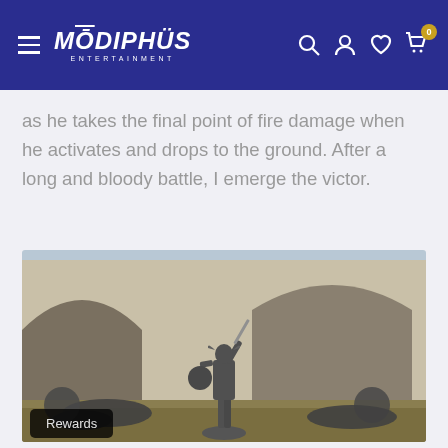Modiphius Entertainment — Navigation bar with hamburger menu, logo, search, account, wishlist, cart (0)
as he takes the final point of fire damage when he activates and drops to the ground. After a long and bloody battle, I emerge the victor.
[Figure (photo): A tabletop miniature scene showing a warrior figure standing triumphant with sword raised, surrounded by fallen enemy miniatures on a grass and stone terrain backdrop.]
Rewards